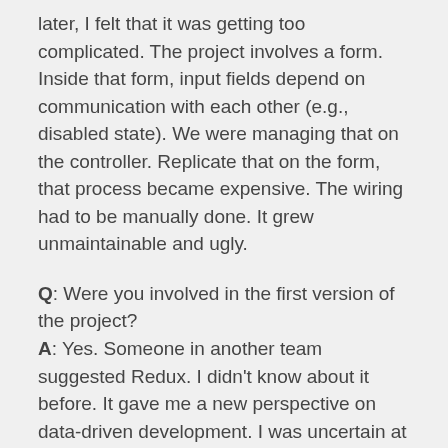later, I felt that it was getting too complicated. The project involves a form. Inside that form, input fields depend on communication with each other (e.g., disabled state). We were managing that on the controller. Replicate that on the form, that process became expensive. The wiring had to be manually done. It grew unmaintainable and ugly.
Q: Were you involved in the first version of the project? A: Yes. Someone in another team suggested Redux. I didn't know about it before. It gave me a new perspective on data-driven development. I was uncertain at first. It changed the whole paradigm for the project. It would take some time to adapt. I felt hesitant because Redux was new to me, and I didn't understand it yet. I spent some